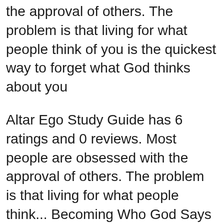the approval of others. The problem is that living for what people think of you is the quickest way to forget what God thinks about you
Altar Ego Study Guide has 6 ratings and 0 reviews. Most people are obsessed with the approval of others. The problem is that living for what people think... Becoming Who God Says You Are. You are valuable because God says you are His. Designed for use with Altar Ego Study Guide 9780310894940
You are not who others say you are. You are who Christ says you are. This study guide (DVD/digital video sold separately) offers discussion questions